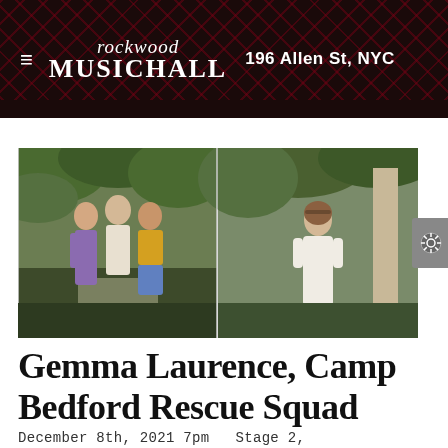rockwood MUSICHALL   196 Allen St, NYC
[Figure (photo): Two side-by-side outdoor photographs: left photo shows three people standing on a forest path, one woman in floral dress, one woman in yellow striped dress, one man in yellow striped shirt and blue shorts; right photo shows a woman in a white flowing dress standing among trees.]
Gemma Laurence, Camp Bedford Rescue Squad
December 8th, 2021 7pm  Stage 2,